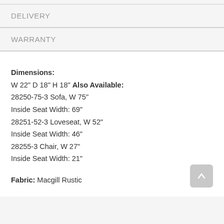DELIVERY
WARRANTY
Dimensions:
W 22" D 18" H 18" Also Available:
28250-75-3 Sofa, W 75"
Inside Seat Width: 69"
28251-52-3 Loveseat, W 52"
Inside Seat Width: 46"
28255-3 Chair, W 27"
Inside Seat Width: 21"

Fabric: Macgill Rustic